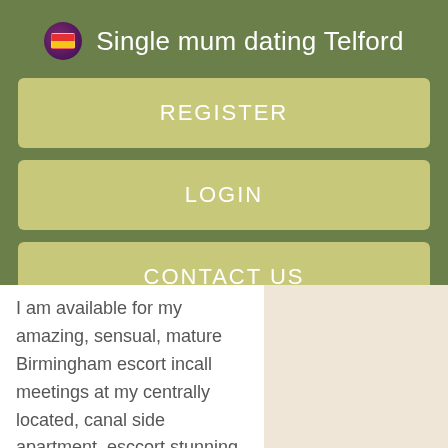Single mum dating Telford
REGISTER
LOGIN
CONTACT US
I am available for my amazing, sensual, mature Birmingham escort incall meetings at my centrally located, canal side apartment, esccort stunning views over the waterways. You will enjoy a very warm welcome and I will quickly make you relaxed and at home.